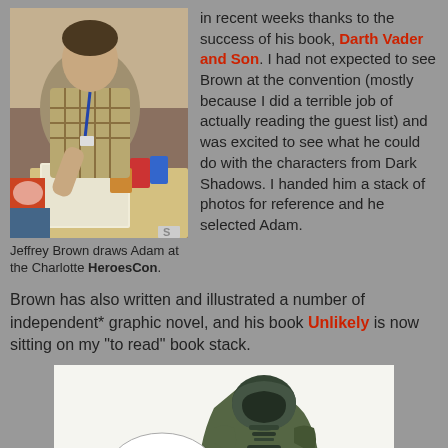[Figure (photo): Jeffrey Brown drawing at a convention table with colorful items around him]
Jeffrey Brown draws Adam at the Charlotte HeroesCon.
in recent weeks thanks to the success of his book, Darth Vader and Son. I had not expected to see Brown at the convention (mostly because I did a terrible job of actually reading the guest list) and was excited to see what he could do with the characters from Dark Shadows. I handed him a stack of photos for reference and he selected Adam.
Brown has also written and illustrated a number of independent* graphic novel, and his book Unlikely is now sitting on my "to read" book stack.
[Figure (illustration): Illustration of Darth Vader with a speech bubble saying 'I don't want a sister.']